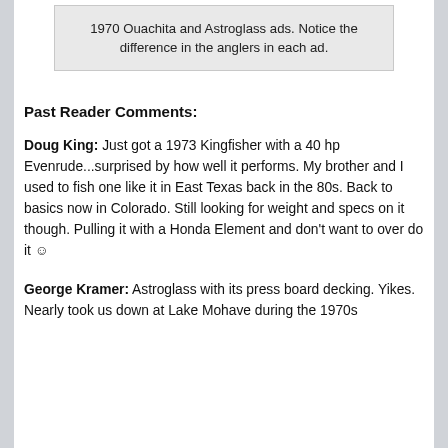1970 Ouachita and Astroglass ads. Notice the difference in the anglers in each ad.
Past Reader Comments:
Doug King:  Just got a 1973 Kingfisher with a 40 hp Evenrude...surprised by how well it performs. My brother and I used to fish one like it in East Texas back in the 80s. Back to basics now in Colorado. Still looking for weight and specs on it though. Pulling it with a Honda Element and don’t want to over do it ☺
George Kramer:  Astroglass with its press board decking. Yikes. Nearly took us down at Lake Mohave during the 1970s